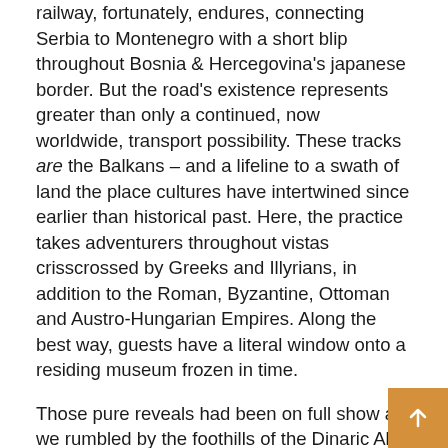railway, fortunately, endures, connecting Serbia to Montenegro with a short blip throughout Bosnia & Hercegovina's japanese border. But the road's existence represents greater than only a continued, now worldwide, transport possibility. These tracks are the Balkans – and a lifeline to a swath of land the place cultures have intertwined since earlier than historical past. Here, the practice takes adventurers throughout vistas crisscrossed by Greeks and Illyrians, in addition to the Roman, Byzantine, Ottoman and Austro-Hungarian Empires. Along the best way, guests have a literal window onto a residing museum frozen in time.
Those pure reveals had been on full show as we rumbled by the foothills of the Dinaric Alps within the southwestern nook of Serbia. When we crossed the border into Montenegro, the museum's lineup of canvases – pristine panoramas and landscapes – modified once more. The Western Balkans rotating assortment now included towering mountains and